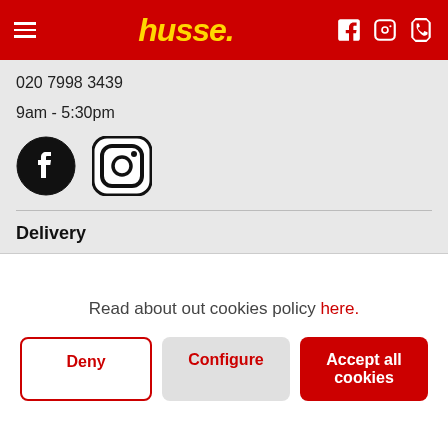husse.
020 7998 3439
9am - 5:30pm
[Figure (logo): Facebook and Instagram social media icons]
Delivery
We offer Husse personal delivery or courier company.
husse
Read about out cookies policy here.
Deny | Configure | Accept all cookies